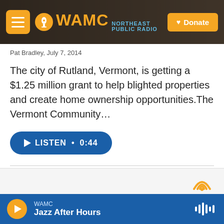[Figure (screenshot): WAMC Northeast Public Radio website header with logo and Donate button]
Pat Bradley, July 7, 2014
The city of Rutland, Vermont, is getting a $1.25 million grant to help blighted properties and create home ownership opportunities.The Vermont Community…
LISTEN • 0:44
Load More
[Figure (screenshot): Partial view of a radio station page with signal/wifi icon]
WAMC Jazz After Hours